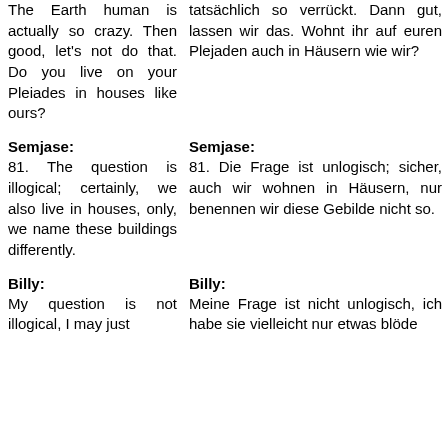The Earth human is actually so crazy. Then good, let's not do that. Do you live on your Pleiades in houses like ours?
tatsächlich so verrückt. Dann gut, lassen wir das. Wohnt ihr auf euren Plejaden auch in Häusern wie wir?
Semjase:
Semjase:
81. The question is illogical; certainly, we also live in houses, only, we name these buildings differently.
81. Die Frage ist unlogisch; sicher, auch wir wohnen in Häusern, nur benennen wir diese Gebilde nicht so.
Billy:
Billy:
My question is not illogical, I may just
Meine Frage ist nicht unlogisch, ich habe sie vielleicht nur etwas blöde